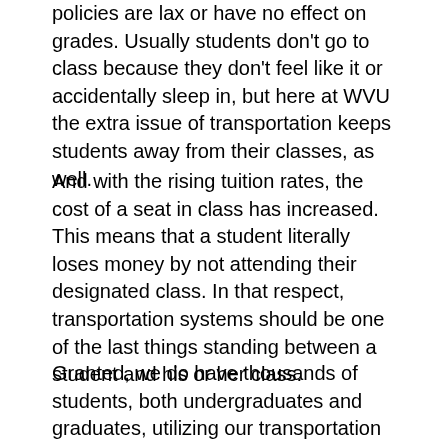policies are lax or have no effect on grades. Usually students don't go to class because they don't feel like it or accidentally sleep in, but here at WVU the extra issue of transportation keeps students away from their classes, as well.
And with the rising tuition rates, the cost of a seat in class has increased. This means that a student literally loses money by not attending their designated class. In that respect, transportation systems should be one of the last things standing between a student and his or her class.
Granted, we do have thousands of students, both undergraduates and graduates, utilizing our transportation systems; often there are simply not enough buses or too much wear and tear on a PRT system that was better suited to the